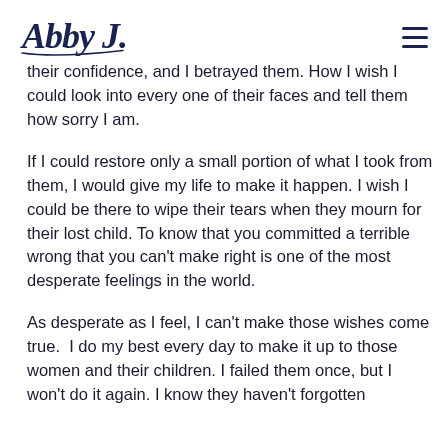Abby J. [logo] [hamburger menu]
their confidence, and I betrayed them. How I wish I could look into every one of their faces and tell them how sorry I am.
If I could restore only a small portion of what I took from them, I would give my life to make it happen. I wish I could be there to wipe their tears when they mourn for their lost child. To know that you committed a terrible wrong that you can't make right is one of the most desperate feelings in the world.
As desperate as I feel, I can't make those wishes come true.  I do my best every day to make it up to those women and their children. I failed them once, but I won't do it again. I know they haven't forgotten